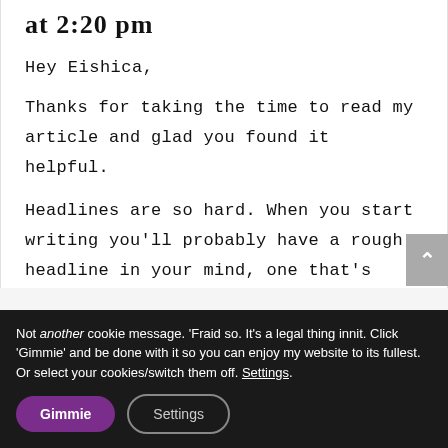at 2:20 pm
Hey Eishica,
Thanks for taking the time to read my article and glad you found it helpful.
Headlines are so hard. When you start writing you'll probably have a rough headline in your mind, one that's probably based on the brief. But absolutely, you should be open to
Not another cookie message. 'Fraid so. It's a legal thing innit. Click 'Gimmie' and be done with it so you can enjoy my website to its fullest. Or select your cookies/switch them off. Settings.